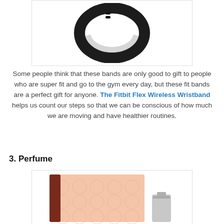[Figure (photo): Fitbit Flex wireless wristband — a black oval/circular fitness tracker band shown against a white background]
Some people think that these bands are only good to gift to people who are super fit and go to the gym every day, but these fit bands are a perfect gift for anyone. The Fitbit Flex Wireless Wristband helps us count our steps so that we can be conscious of how much we are moving and have healthier routines.
3. Perfume
[Figure (photo): Perfume product image showing a Coach-branded peach/rose patterned box and a silver tube/bottle on a white background]